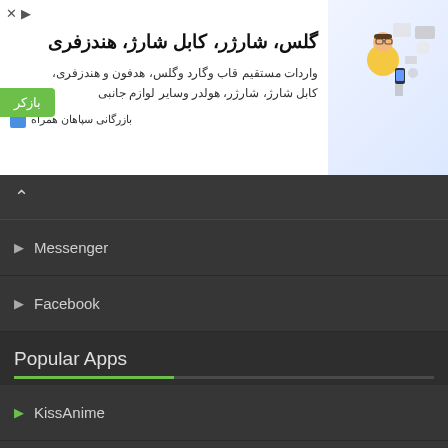[Figure (infographic): Persian language advertisement banner for phone accessories (glasses, charger, cable, headphones) - Barzargani Sepahan Hamrah. Shows product image with person in yellow shirt holding phone, surrounded by accessory icons.]
Messenger
Facebook
Popular Apps
KissAnime
VidMate
Spotify
Netflix
4Shared
Hulu